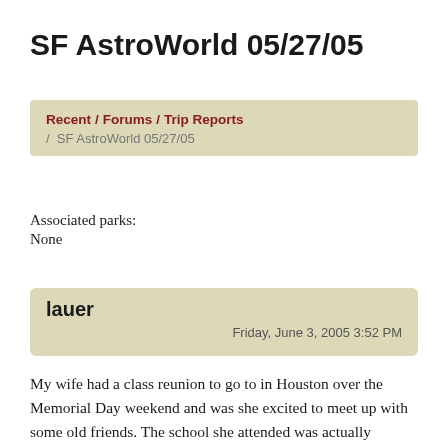SF AstroWorld 05/27/05
Recent / Forums / Trip Reports / SF AstroWorld 05/27/05
Associated parks:
None
lauer
Friday, June 3, 2005 3:52 PM
My wife had a class reunion to go to in Houston over the Memorial Day weekend and was she excited to meet up with some old friends. The school she attended was actually overseas but every couple of years, the